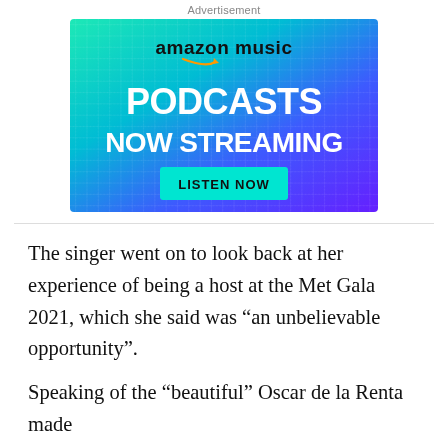Advertisement
[Figure (illustration): Amazon Music advertisement banner with gradient background from green to blue/purple. Shows 'amazon music' logo at top, 'PODCASTS NOW STREAMING' in large white bold text, and a 'LISTEN NOW' button in teal/cyan.]
The singer went on to look back at her experience of being a host at the Met Gala 2021, which she said was “an unbelievable opportunity”.
Speaking of the “beautiful” Oscar de la Renta made